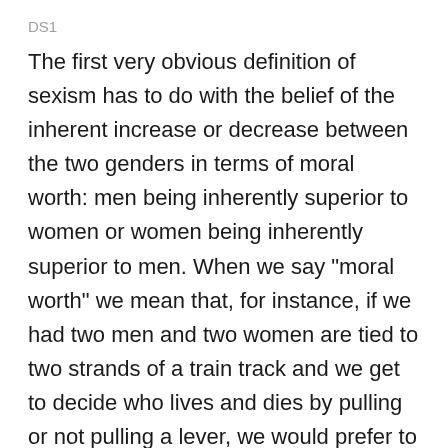DS1
The first very obvious definition of sexism has to do with the belief of the inherent increase or decrease between the two genders in terms of moral worth: men being inherently superior to women or women being inherently superior to men. When we say "moral worth" we mean that, for instance, if we had two men and two women are tied to two strands of a train track and we get to decide who lives and dies by pulling or not pulling a lever, we would prefer to save the two men over the two women because they are more valuable to long term successes of a particular population. This inherent moral worth is supposedly recognized in either men or women because of things like intelligence. If you believe